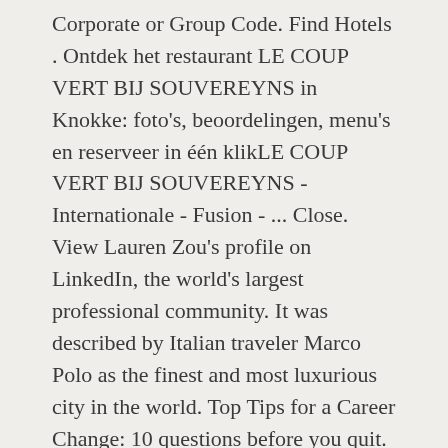Corporate or Group Code. Find Hotels . Ontdek het restaurant LE COUP VERT BIJ SOUVEREYNS in Knokke: foto's, beoordelingen, menu's en reserveer in één klikLE COUP VERT BIJ SOUVEREYNS - Internationale - Fusion - ... Close. View Lauren Zou's profile on LinkedIn, the world's largest professional community. It was described by Italian traveler Marco Polo as the finest and most luxurious city in the world. Top Tips for a Career Change: 10 questions before you quit. Hangzhou is the capital of Zhejiang Province and one of the seven ancient capitals of China. Download onze brochure met mapping oplossingen. Google's free service instantly translates words, phrases, and web